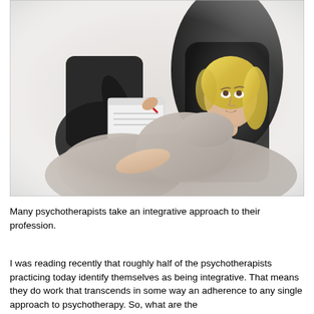[Figure (photo): A woman with blonde hair reclines in a dark leather chair, looking upward with a thoughtful or concerned expression. In the background, a person in a dark suit sits and writes on a clipboard or notepad, suggesting a psychotherapy session.]
Many psychotherapists take an integrative approach to their profession.
I was reading recently that roughly half of the psychotherapists practicing today identify themselves as being integrative. That means they do work that transcends in some way an adherence to any single approach to psychotherapy. So, what are the